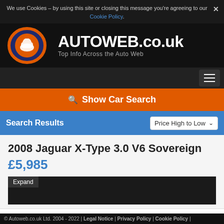We use Cookies – by using this site or closing this message you're agreeing to our Cookie Policy.
[Figure (logo): AUTOWEB.co.uk logo with orange and dark blue circular emblem]
AUTOWEB.co.uk
Top Info Across the Auto Web
Show Car Search
Search Results
Price High to Low
2008 Jaguar X-Type 3.0 V6 Sovereign
£5,985
Expand
© Autoweb.co.uk Ltd. 2004 - 2022 | Legal Notice | Privacy Policy | Cookie Policy |